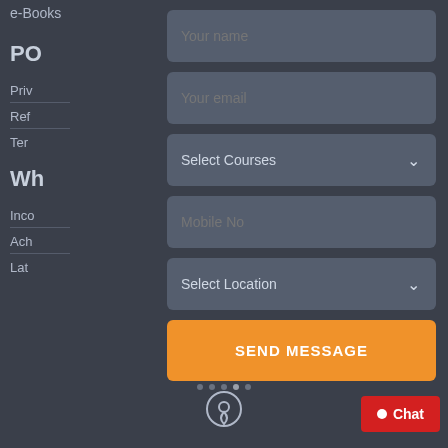e-Books
PO
Priv
Ref
Ter
WH
Inco
Ach
Lat
Your name
Your email
Select Courses
Mobile No
Select Location
SEND MESSAGE
Chat